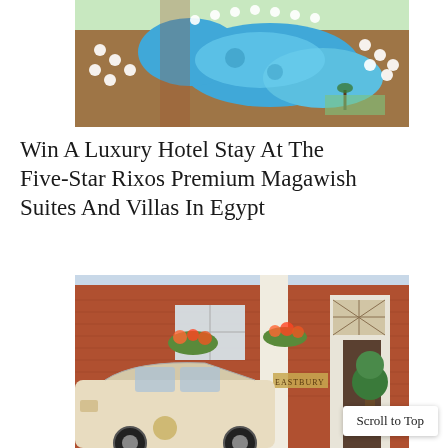[Figure (photo): Aerial view of a luxury resort pool with lounge chairs and umbrellas arranged around a large freeform swimming pool]
Win A Luxury Hotel Stay At The Five-Star Rixos Premium Magawish Suites And Villas In Egypt
[Figure (photo): Exterior of The Eastbury hotel with brick facade, flower boxes, topiary trees, and a vintage cream-colored car in the foreground]
Scroll to Top